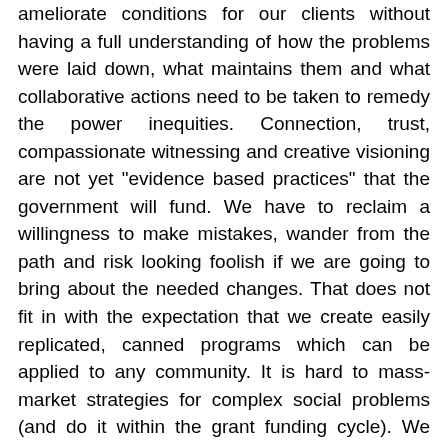ameliorate conditions for our clients without having a full understanding of how the problems were laid down, what maintains them and what collaborative actions need to be taken to remedy the power inequities. Connection, trust, compassionate witnessing and creative visioning are not yet "evidence based practices" that the government will fund. We have to reclaim a willingness to make mistakes, wander from the path and risk looking foolish if we are going to bring about the needed changes. That does not fit in with the expectation that we create easily replicated, canned programs which can be applied to any community. It is hard to mass-market strategies for complex social problems (and do it within the grant funding cycle). We have to have the courage to demand more time, to be more open-hearted, to toss a failed strategy aside and trust that we can create something more effective. It always circles back to trust for me.